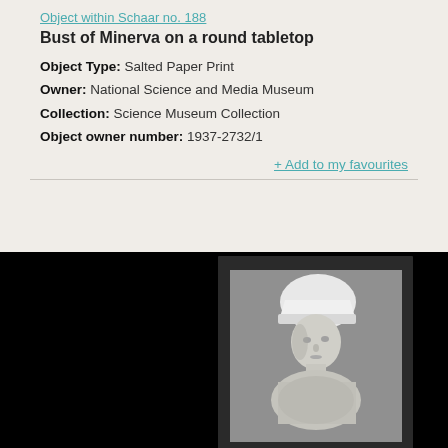Object within Schaar no. 188
Bust of Minerva on a round tabletop
Object Type: Salted Paper Print
Owner: National Science and Media Museum
Collection: Science Museum Collection
Object owner number: 1937-2732/1
+ Add to my favourites
[Figure (photo): Black and white photograph (salted paper print) of a bust of Minerva wearing a helmet, displayed on a round tabletop. The bust is centered in the image against a gray background, mounted within a dark border, all set against a black background.]